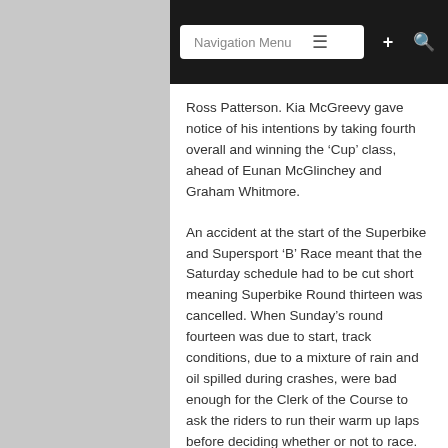Navigation Menu
Ross Patterson. Kia McGreevy gave notice of his intentions by taking fourth overall and winning the ‘Cup’ class, ahead of Eunan McGlinchey and Graham Whitmore.
An accident at the start of the Superbike and Supersport ‘B’ Race meant that the Saturday schedule had to be cut short meaning Superbike Round thirteen was cancelled. When Sunday’s round fourteen was due to start, track conditions, due to a mixture of rain and oil spilled during crashes, were bad enough for the Clerk of the Course to ask the riders to run their warm up laps before deciding whether or not to race.
The majority of riders agreed reluctantly to continue and it was Charles Stuart who made the best of the conditions to take his second